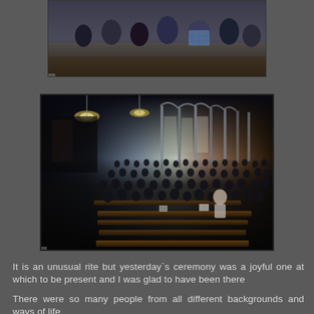[Figure (photo): Partial photo at top of page showing people gathered, cropped — only lower portion visible showing a crowd from above]
[Figure (photo): Interior of a large ornate church filled with a diverse congregation seated in rows of pews. The church has elaborate arched colonnades, chandeliers, and decorative architectural elements. Many people of different backgrounds are seated and attending a ceremony.]
It is an unusual rite but yesterday`s ceremony was a joyful one at which to be present and I was glad to have been there
There were so many people from all different backgrounds and ways of life